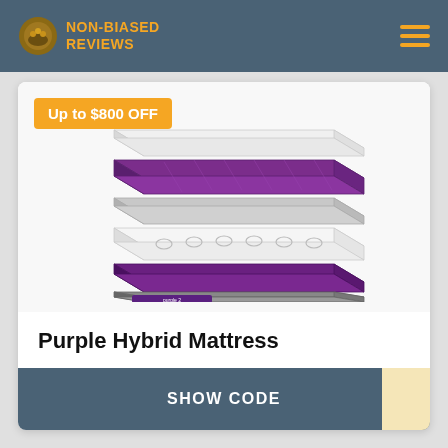NON-BIASED REVIEWS
[Figure (illustration): Exploded view of Purple Hybrid Mattress layers with 'Up to $800 OFF' badge. Shows white cover layer, purple gel grid layer, light grey comfort layer, white coil support layer, purple base layer, and grey foundation with Purple 2 logo label.]
Purple Hybrid Mattress
Up to $300 OFF Purple mattresses, + $500 OFF on Adjustable Base. A unique mix of Purple's innovative gel Grid, responsive support coils, and... Show More
SHOW CODE